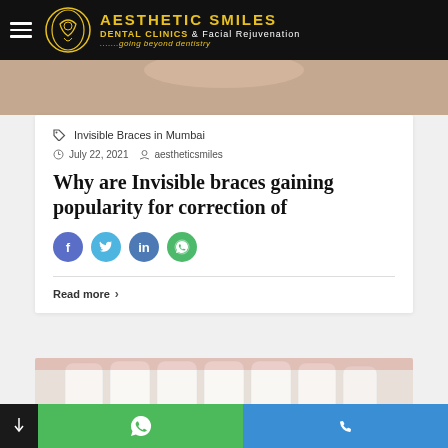[Figure (logo): Aesthetic Smiles Dental Clinics & Facial Rejuvenation logo with dark header bar]
[Figure (photo): Close-up dental/mouth photo at top of article card]
Invisible Braces in Mumbai
July 22, 2021  aestheticsmiles
Why are Invisible braces gaining popularity for correction of
[Figure (infographic): Social share buttons: Facebook, Twitter, LinkedIn, WhatsApp]
Read more ›
[Figure (photo): Close-up photo of teeth at bottom of page]
[Figure (infographic): Bottom navigation bar with dark panel (arrow icon), green WhatsApp button, and blue phone button]